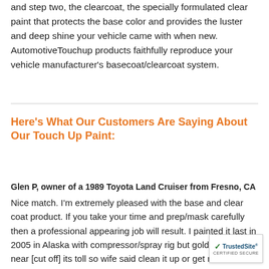and step two, the clearcoat, the specially formulated clear paint that protects the base color and provides the luster and deep shine your vehicle came with when new. AutomotiveTouchup products faithfully reproduce your vehicle manufacturer's basecoat/clearcoat system.
Here's What Our Customers Are Saying About Our Touch Up Paint:
Glen P, owner of a 1989 Toyota Land Cruiser from Fresno, CA
Nice match. I'm extremely pleased with the base and clear coat product. If you take your time and prep/mask carefully then a professional appearing job will result. I painted it last in 2005 in Alaska with compressor/spray rig but gold mining near [cut off] its toll so wife said clean it up or get rid of it. This time
[Figure (logo): TrustedSite CERTIFIED SECURE badge in bottom right corner]